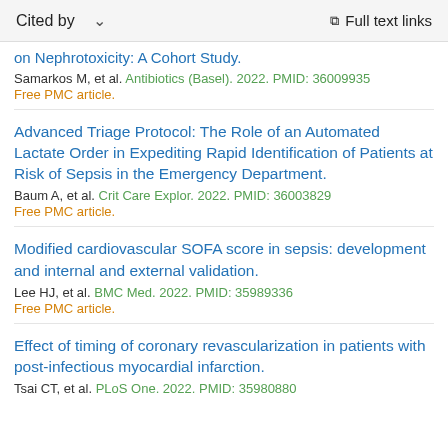Cited by   ∨   Full text links
on Nephrotoxicity: A Cohort Study.
Samarkos M, et al. Antibiotics (Basel). 2022. PMID: 36009935
Free PMC article.
Advanced Triage Protocol: The Role of an Automated Lactate Order in Expediting Rapid Identification of Patients at Risk of Sepsis in the Emergency Department.
Baum A, et al. Crit Care Explor. 2022. PMID: 36003829
Free PMC article.
Modified cardiovascular SOFA score in sepsis: development and internal and external validation.
Lee HJ, et al. BMC Med. 2022. PMID: 35989336
Free PMC article.
Effect of timing of coronary revascularization in patients with post-infectious myocardial infarction.
Tsai CT, et al. PLoS One. 2022. PMID: 35980880